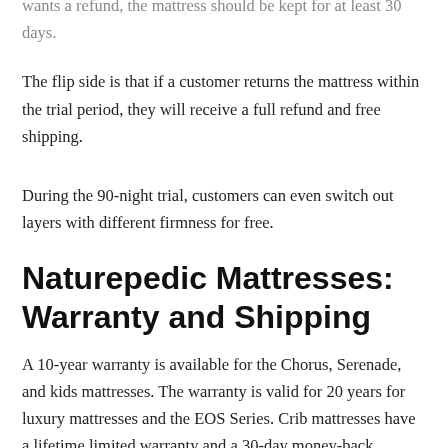wants a refund, the mattress should be kept for at least 30 days.
The flip side is that if a customer returns the mattress within the trial period, they will receive a full refund and free shipping.
During the 90-night trial, customers can even switch out layers with different firmness for free.
Naturepedic Mattresses: Warranty and Shipping
A 10-year warranty is available for the Chorus, Serenade, and kids mattresses. The warranty is valid for 20 years for luxury mattresses and the EOS Series. Crib mattresses have a lifetime limited warranty and a 30-day money-back guarantee.
Shipping is completely free. Once ordered, they cannot be canceled. They are shipped within 2 business days. Any damaged...